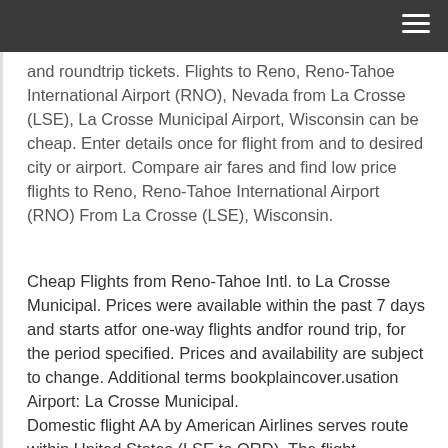≡
and roundtrip tickets. Flights to Reno, Reno-Tahoe International Airport (RNO), Nevada from La Crosse (LSE), La Crosse Municipal Airport, Wisconsin can be cheap. Enter details once for flight from and to desired city or airport. Compare air fares and find low price flights to Reno, Reno-Tahoe International Airport (RNO) From La Crosse (LSE), Wisconsin.
Cheap Flights from Reno-Tahoe Intl. to La Crosse Municipal. Prices were available within the past 7 days and starts atfor one-way flights andfor round trip, for the period specified. Prices and availability are subject to change. Additional terms bookplaincover.usation Airport: La Crosse Municipal.
Domestic flight AA by American Airlines serves route within United States (LSE to ORD). The flight